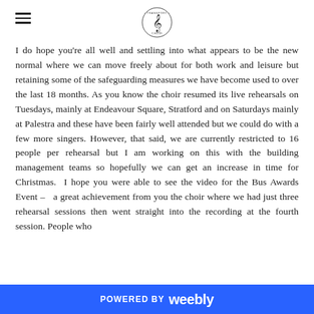[hamburger menu icon] [logo: musical note / choir organization]
I do hope you're all well and settling into what appears to be the new normal where we can move freely about for both work and leisure but retaining some of the safeguarding measures we have become used to over the last 18 months. As you know the choir resumed its live rehearsals on Tuesdays, mainly at Endeavour Square, Stratford and on Saturdays mainly at Palestra and these have been fairly well attended but we could do with a few more singers. However, that said, we are currently restricted to 16 people per rehearsal but I am working on this with the building management teams so hopefully we can get an increase in time for Christmas.  I hope you were able to see the video for the Bus Awards Event –  a great achievement from you the choir where we had just three rehearsal sessions then went straight into the recording at the fourth session. People who
POWERED BY weebly